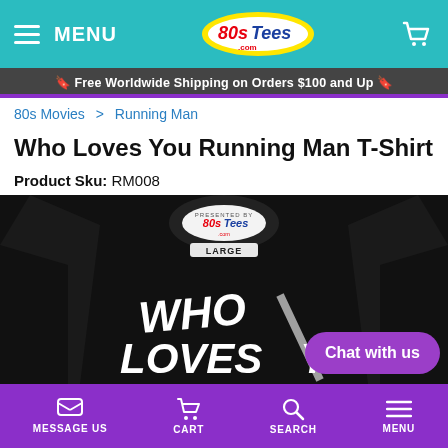MENU | 80sTees.com | Cart
🔖 Free Worldwide Shipping on Orders $100 and Up 🔖
80s Movies > Running Man
Who Loves You Running Man T-Shirt
Product Sku: RM008
[Figure (photo): Black t-shirt showing 80sTees.com label at collar and 'WHO LOVES YO...' text graphic on front]
MESSAGE US | CART | SEARCH | MENU